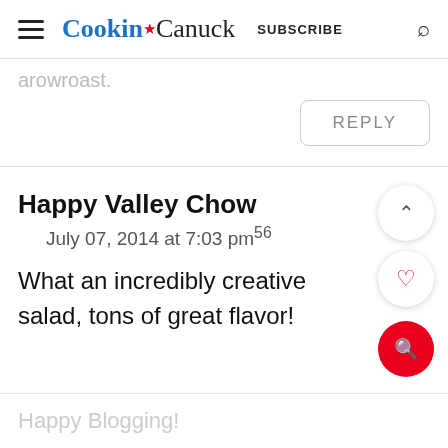Cookin' Canuck  SUBSCRIBE
arowroast.
REPLY
Happy Valley Chow
July 07, 2014 at 7:03 pm56
What an incredibly creative salad, tons of great flavor!
Happy Blogging!